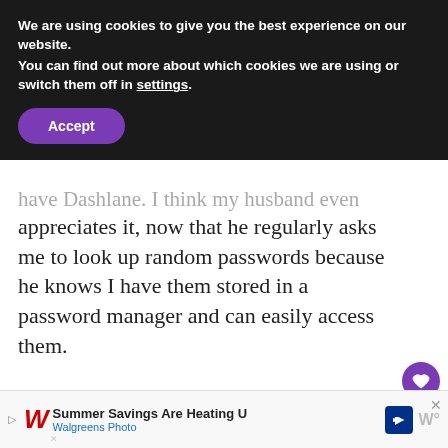We are using cookies to give you the best experience on our website.
You can find out more about which cookies we are using or switch them off in settings.
Accept
have Dashlane. I think my husband even appreciates it, now that he regularly asks me to look up random passwords because he knows I have them stored in a password manager and can easily access them.
I sound like a paid advertisement, but I just really like it, and it's made my online e...
WHAT'S NEXT → 20 Zero Waste Halloween...
Summer Savings Are Heating U
Walgreens Photo